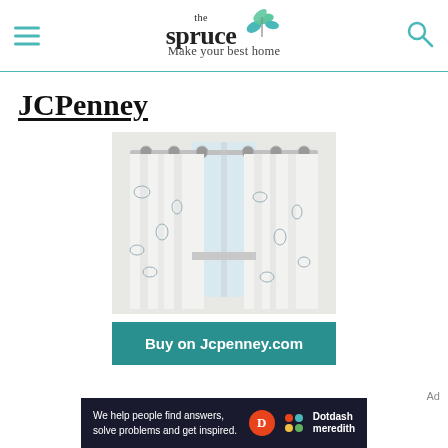the spruce — Make your best home
JCPenney
[Figure (photo): Floral patterned white curtains with grommet tops hanging on a curtain rod in front of a window]
Buy on Jcpenney.com
Ad
We help people find answers, solve problems and get inspired. Dotdash meredith